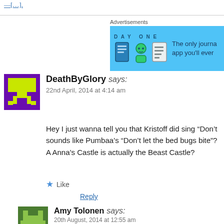[link]
[Figure (screenshot): Partial advertisement banner for Day One journal app with blue background and app icons]
DeathByGlory says:
22nd April, 2014 at 4:14 am
Hey I just wanna tell you that Kristoff did sing “Don’t sounds like Pumbaa’s “Don’t let the bed bugs bite”? A Anna’s Castle is actually the Beast Castle?
Like
Reply
Amy Tolonen says:
20th August, 2014 at 12:55 am